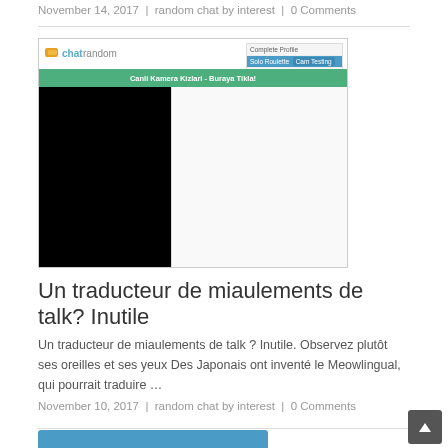November 14, 2017 | random chat by interest | 0 Comments
[Figure (screenshot): Screenshot of chatrandom website showing a video chat interface with a black camera feed on the left, a Turkish flag dropdown panel on the top right, and a green banner reading 'Canli Kamera Kizlari - Buraya Tikla!']
Un traducteur de miaulements de talk? Inutile
Un traducteur de miaulements de talk ? Inutile. Observez plutôt ses oreilles et ses yeux Des Japonais ont inventé le Meowlingual, qui pourrait traduire …
November 10, 2017 | random chat by interest | 0 Comments